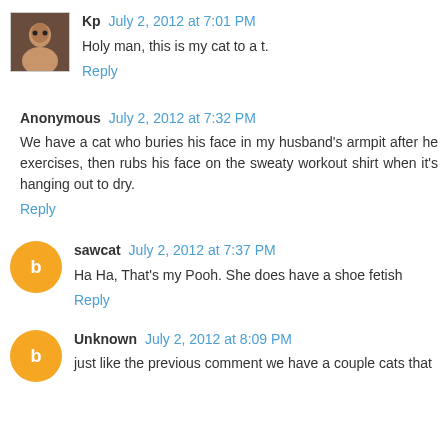Kp July 2, 2012 at 7:01 PM
Holy man, this is my cat to a t.
Reply
Anonymous July 2, 2012 at 7:32 PM
We have a cat who buries his face in my husband's armpit after he exercises, then rubs his face on the sweaty workout shirt when it's hanging out to dry.
Reply
sawcat July 2, 2012 at 7:37 PM
Ha Ha, That's my Pooh. She does have a shoe fetish
Reply
Unknown July 2, 2012 at 8:09 PM
just like the previous comment we have a couple cats that